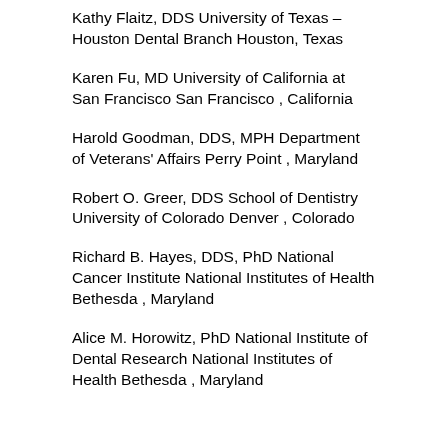Kathy Flaitz, DDS University of Texas – Houston Dental Branch Houston, Texas
Karen Fu, MD University of California at San Francisco San Francisco , California
Harold Goodman, DDS, MPH Department of Veterans' Affairs Perry Point , Maryland
Robert O. Greer, DDS School of Dentistry University of Colorado Denver , Colorado
Richard B. Hayes, DDS, PhD National Cancer Institute National Institutes of Health Bethesda , Maryland
Alice M. Horowitz, PhD National Institute of Dental Research National Institutes of Health Bethesda , Maryland